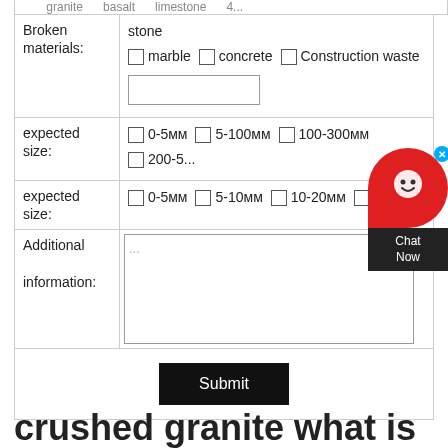| Broken materials: | stone
☐ marble  ☐ concrete  ☐ Construction waste  [text input] |
| expected size: | ☐ 0-5мм  ☐ 5-100мм  ☐ 100-300мм  ☐ 200-5... |
| expected size: | ☐ 0-5мм  ☐ 5-10мм  ☐ 10-20мм  ☐ 2... |
| Additional information: | ... [textarea] |
|  | Submit |
crushed granite what is